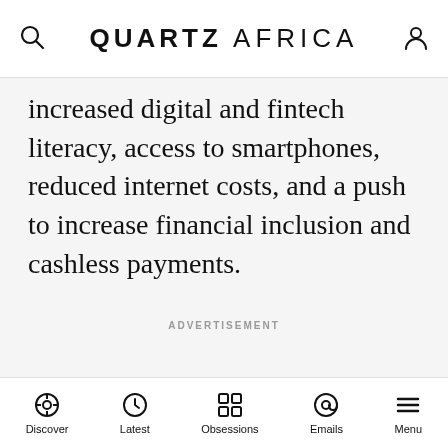QUARTZ AFRICA
increased digital and fintech literacy, access to smartphones, reduced internet costs, and a push to increase financial inclusion and cashless payments.
ADVERTISEMENT
Discover  Latest  Obsessions  Emails  Menu